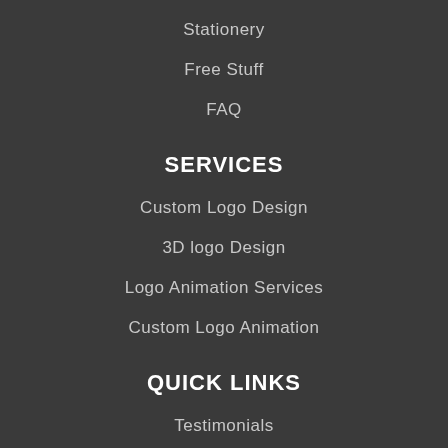Stationery
Free Stuff
FAQ
SERVICES
Custom Logo Design
3D logo Design
Logo Animation Services
Custom Logo Animation
QUICK LINKS
Testimonials
Contact us
Wish List